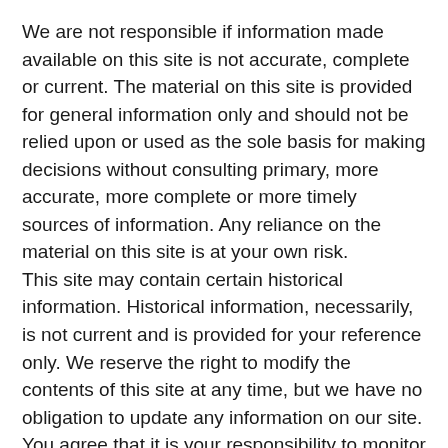We are not responsible if information made available on this site is not accurate, complete or current. The material on this site is provided for general information only and should not be relied upon or used as the sole basis for making decisions without consulting primary, more accurate, more complete or more timely sources of information. Any reliance on the material on this site is at your own risk. This site may contain certain historical information. Historical information, necessarily, is not current and is provided for your reference only. We reserve the right to modify the contents of this site at any time, but we have no obligation to update any information on our site. You agree that it is your responsibility to monitor changes to our site.
SECTION 4 – MODIFICATIONS TO THE SERVICE AND PRICES
Prices for our products are subject to change without notice.